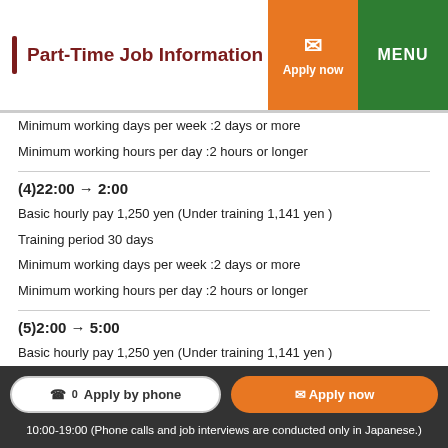Part-Time Job Information
Minimum working days per week :2 days or more
Minimum working hours per day :2 hours or longer
(4)22:00 → 2:00
Basic hourly pay 1,250 yen (Under training 1,141 yen )
Training period 30 days
Minimum working days per week :2 days or more
Minimum working hours per day :2 hours or longer
(5)2:00 → 5:00
Basic hourly pay 1,250 yen (Under training 1,141 yen )
Training period 30 days
Minimum working days per week :2 days or more
Apply by phone | Apply now | 10:00-19:00 (Phone calls and job interviews are conducted only in Japanese.)